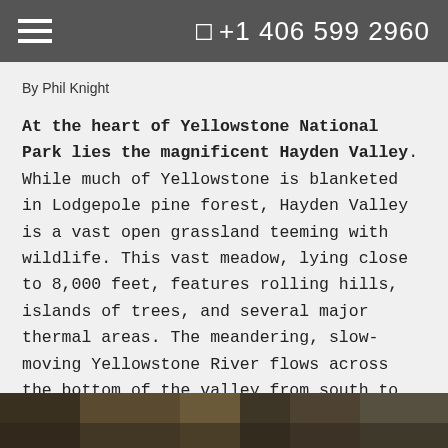+1 406 599 2960
By Phil Knight
At the heart of Yellowstone National Park lies the magnificent Hayden Valley. While much of Yellowstone is blanketed in Lodgepole pine forest, Hayden Valley is a vast open grassland teeming with wildlife. This vast meadow, lying close to 8,000 feet, features rolling hills, islands of trees, and several major thermal areas. The meandering, slow-moving Yellowstone River flows across the bottom of the valley from south to north, a magnet for all kinds of animals.
[Figure (photo): Partial photo strip of Yellowstone landscape at the bottom of the page]